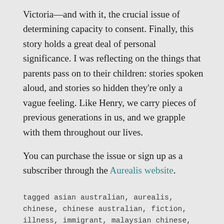Victoria—and with it, the crucial issue of determining capacity to consent. Finally, this story holds a great deal of personal significance. I was reflecting on the things that parents pass on to their children: stories spoken aloud, and stories so hidden they're only a vague feeling. Like Henry, we carry pieces of previous generations in us, and we grapple with them throughout our lives.
You can purchase the issue or sign up as a subscriber through the Aurealis website.
tagged asian australian, aurealis, chinese, chinese australian, fiction, illness, immigrant, malaysian chinese, medical technology, science fiction, sff, short story, technology, writing     leave a comment
Jigsaw Children in